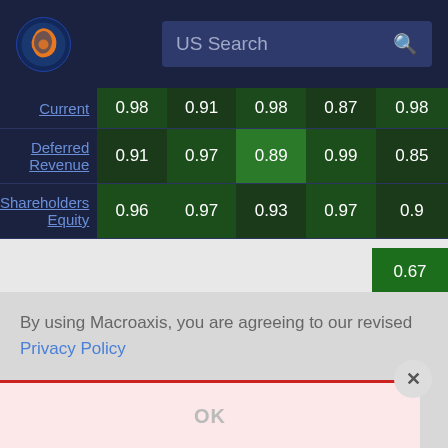[Figure (screenshot): Macroaxis website header with logo and US Search bar]
|  | Col1 | Col2 | Col3 | Col4 | Col5 |
| --- | --- | --- | --- | --- | --- |
| Current | 0.98 | 0.91 | 0.98 | 0.87 | 0.98 |
| Deferred Revenue | 0.91 | 0.97 | 0.89 | 0.99 | 0.85 |
| Shareholders Equity | 0.96 | 0.97 | 0.93 | 0.97 | 0.9 |
|  |  |  |  |  | 0.67 |
|  |  |  |  |  | 0.89 |
|  |  |  |  |  | 0.87 |
By using Macroaxis, you are agreeing to our revised Privacy Policy
OK